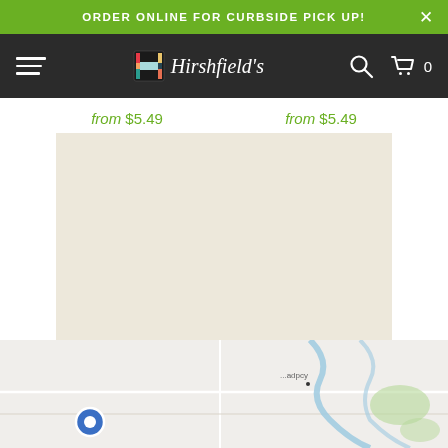ORDER ONLINE FOR CURBSIDE PICK UP!
[Figure (logo): Hirshfield's logo with colorful H icon and italic serif text]
from $5.49
from $5.49
[Figure (illustration): Paint color swatch showing color 0005 Kiara - a warm off-white/cream beige color]
0005 KIARA
from $5.49
[Figure (map): Partial map showing a geographic area with roads, water features, and a location pin marker]